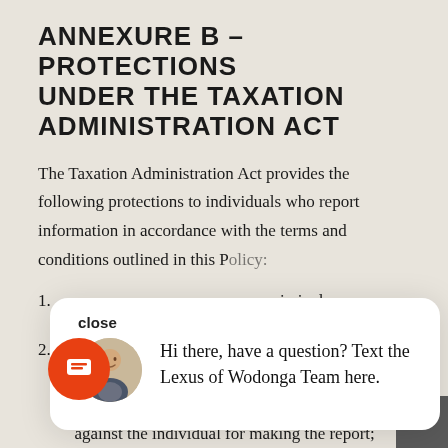ANNEXURE B – PROTECTIONS UNDER THE TAXATION ADMINISTRATION ACT
The Taxation Administration Act provides the following protections to individuals who report information in accordance with the terms and conditions outlined in this Policy:
1. [text partially obscured by popup] ...criminal or ...disciplinary
[Figure (screenshot): Chat popup with close button, avatar of a man, and text: Hi there, have a question? Text the Lexus of Wodonga Team here.]
2. no contractual or other remedies may be enforced, no contractual or other right may be exercised, against the individual for making the report;